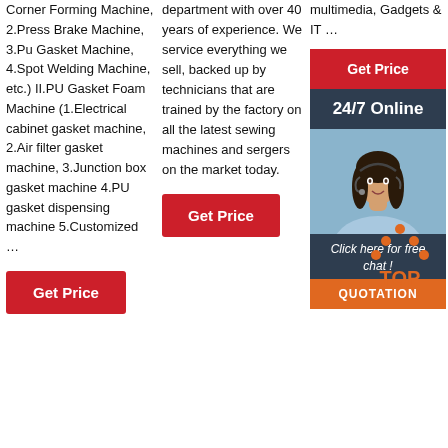Corner Forming Machine, 2.Press Brake Machine, 3.Pu Gasket Machine, 4.Spot Welding Machine, etc.) II.PU Gasket Foam Machine (1.Electrical cabinet gasket machine, 2.Air filter gasket machine, 3.Junction box gasket machine 4.PU gasket dispensing machine 5.Customized …
[Figure (other): Red 'Get Price' button]
department with over 40 years of experience. We service everything we sell, backed up by technicians that are trained by the factory on all the latest sewing machines and sergers on the market today.
[Figure (other): Red 'Get Price' button]
multimedia, Gadgets & IT …
[Figure (other): Red 'Get Price' button in sidebar]
[Figure (other): 24/7 Online support box with agent photo, 'Click here for free chat!' text and QUOTATION orange button]
[Figure (other): TOP navigation icon with orange dots and text]